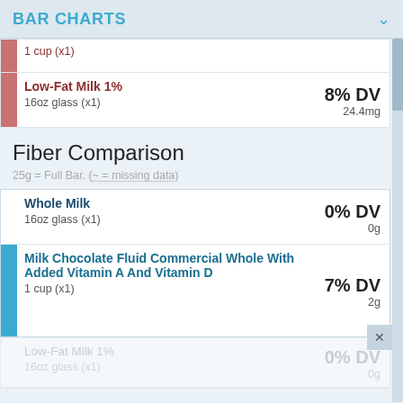BAR CHARTS
| 1 cup (x1) |  |  |
| Low-Fat Milk 1% | 8% DV |  |
| 16oz glass (x1) | 24.4mg |  |
Fiber Comparison
25g = Full Bar. (~ = missing data)
| Whole Milk | 0% DV |  |
| 16oz glass (x1) | 0g |  |
| Milk Chocolate Fluid Commercial Whole With Added Vitamin A And Vitamin D | 7% DV |  |
| 1 cup (x1) | 2g |  |
| Low-Fat Milk 1% | 0% DV |  |
| 16oz glass (x1) | 0g |  |